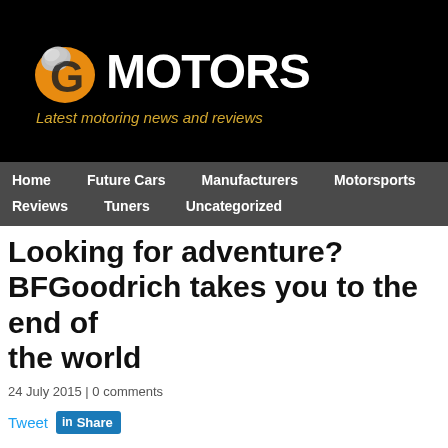[Figure (logo): GMotors website banner logo — black background with orange/silver stylized G icon, white MOTORS text, and gold tagline 'Latest motoring news and reviews']
Home | Future Cars | Manufacturers | Motorsports | Reviews | Tuners | Uncategorized
Looking for adventure? BFGoodrich takes you to the end of the world
24 July 2015 | 0 comments
Tweet  Share